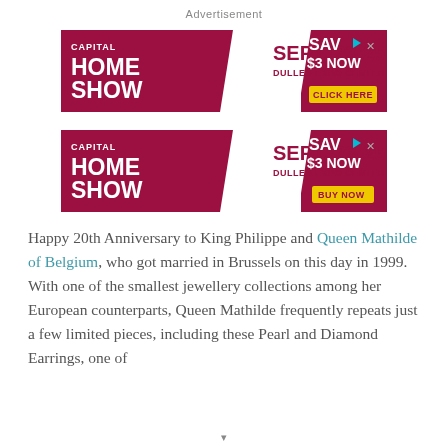Advertisement
[Figure (other): Capital Home Show advertisement banner. Dark red/maroon background on left with white text 'CAPITAL HOME SHOW', white center with maroon text 'SEPT. 23-25 DULLES EXPO CENTER', dark red right section with white text 'SAV $3 NOW' and yellow button 'CLICK HERE'.]
[Figure (other): Capital Home Show advertisement banner. Dark red/maroon background on left with white text 'CAPITAL HOME SHOW', white center with maroon text 'SEPT. 23-25 DULLES EXPO CENTER', dark red right section with white text 'SAV $3 NOW' and yellow button 'BUY NOW'.]
Happy 20th Anniversary to King Philippe and Queen Mathilde of Belgium, who got married in Brussels on this day in 1999. With one of the smallest jewellery collections among her European counterparts, Queen Mathilde frequently repeats just a few limited pieces, including these Pearl and Diamond Earrings, one of